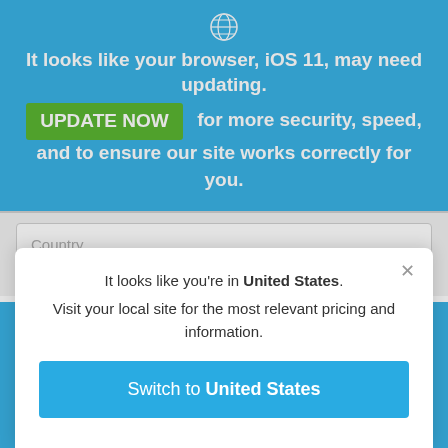[Figure (screenshot): Browser update warning banner with blue background, globe icon, bold white text saying 'It looks like your browser, iOS 11, may need updating.' with a green UPDATE NOW button and text 'for more security, speed, and to ensure our site works correctly for you.']
Country
* Email
It looks like you're in United States. Visit your local site for the most relevant pricing and information.
Switch to United States